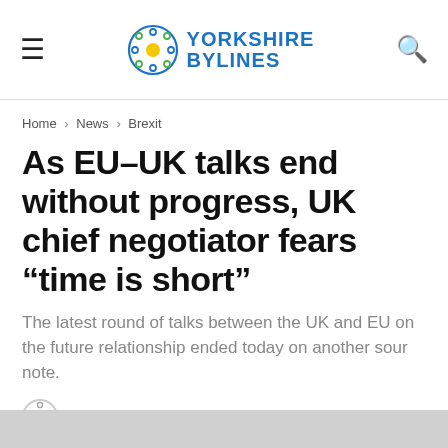Yorkshire Bylines
Home > News > Brexit
As EU-UK talks end without progress, UK chief negotiator fears “time is short”
The latest round of talks between the UK and EU on the future relationship ended today on another sour note.